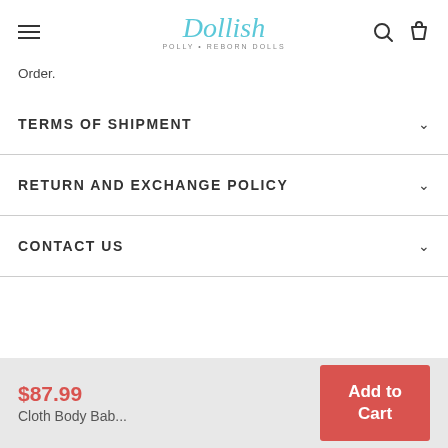Dollish
Order.
TERMS OF SHIPMENT
RETURN AND EXCHANGE POLICY
CONTACT US
$87.99 Cloth Body Bab...
Add to Cart